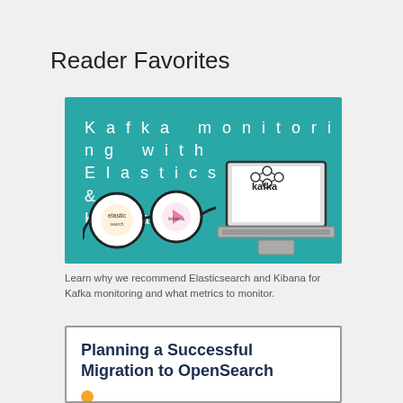Reader Favorites
[Figure (illustration): Teal banner image showing glasses with Elasticsearch and Kibana logos in the lenses, alongside a laptop displaying the Kafka logo, with white text reading 'Kafka monitoring with Elasticsearch & Kibana']
Learn why we recommend Elasticsearch and Kibana for Kafka monitoring and what metrics to monitor.
[Figure (illustration): White card with grey border showing bold dark blue text 'Planning a Successful Migration to OpenSearch' and an orange dot with partial text below]